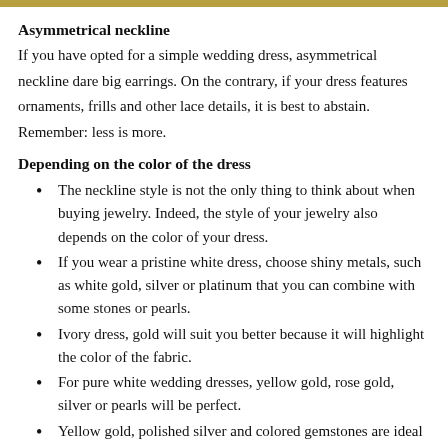Asymmetrical neckline
If you have opted for a simple wedding dress, asymmetrical neckline dare big earrings. On the contrary, if your dress features ornaments, frills and other lace details, it is best to abstain. Remember: less is more.
Depending on the color of the dress
The neckline style is not the only thing to think about when buying jewelry. Indeed, the style of your jewelry also depends on the color of your dress.
If you wear a pristine white dress, choose shiny metals, such as white gold, silver or platinum that you can combine with some stones or pearls.
Ivory dress, gold will suit you better because it will highlight the color of the fabric.
For pure white wedding dresses, yellow gold, rose gold, silver or pearls will be perfect.
Yellow gold, polished silver and colored gemstones are ideal for champagne wedding dresses.
Pink or pastel blue dress? We choose pink gold, platinum or diamonds.
It is essential to have some basics not to make odd. Attention does not buy your jewelry before your wedding dress, they are the ones who must adapt